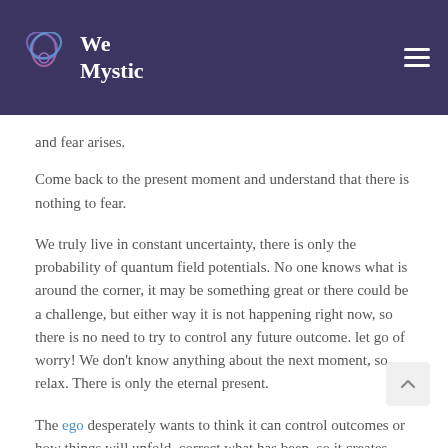We Mystic
and fear arises.
Come back to the present moment and understand that there is nothing to fear.
We truly live in constant uncertainty, there is only the probability of quantum field potentials. No one knows what is around the corner, it may be something great or there could be a challenge, but either way it is not happening right now, so there is no need to try to control any future outcome. let go of worry! We don't know anything about the next moment, so relax. There is only the eternal present.
The ego desperately wants to think it can control outcomes or how things will unfold, correct what has been, so it creates